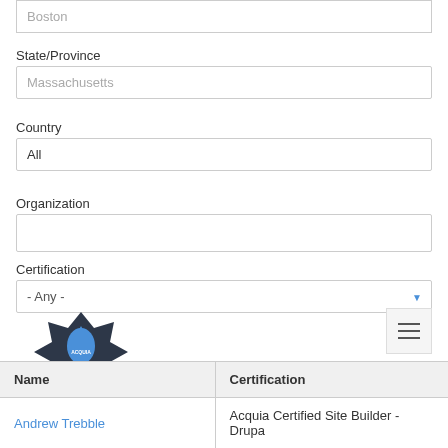Boston
State/Province
Massachusetts
Country
All
Organization
Certification
- Any -
[Figure (logo): Acquia Certification badge logo - dark star shape with blue water drop and blue ribbon banner reading CERTIFICATION]
| Name | Certification |
| --- | --- |
| Andrew Trebble | Acquia Certified Site Builder - Drupa |